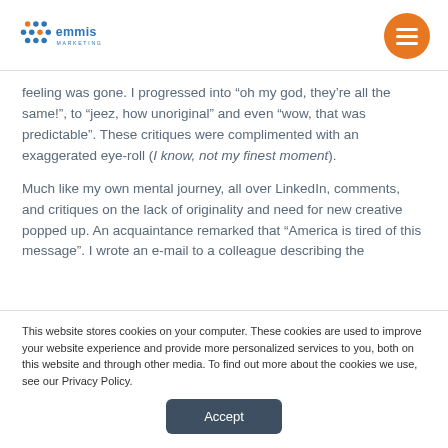emmis MARKETING
feeling was gone. I progressed into “oh my god, they’re all the same!”, to “jeez, how unoriginal” and even “wow, that was predictable”. These critiques were complimented with an exaggerated eye-roll (I know, not my finest moment).
Much like my own mental journey, all over LinkedIn, comments, and critiques on the lack of originality and need for new creative popped up. An acquaintance remarked that “America is tired of this message”. I wrote an e-mail to a colleague describing the
This website stores cookies on your computer. These cookies are used to improve your website experience and provide more personalized services to you, both on this website and through other media. To find out more about the cookies we use, see our Privacy Policy.
Accept